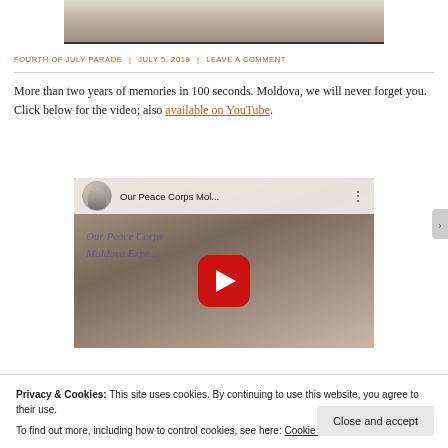[Figure (photo): Top portion of a parade photo, showing people at the bottom edge of the image]
FOURTH OF JULY PARADE | JULY 5, 2019 | LEAVE A COMMENT
More than two years of memories in 100 seconds. Moldova, we will never forget you. Click below for the video; also available on YouTube.
[Figure (screenshot): YouTube video thumbnail for 'Our Peace Corps Mol...' showing an older man with glasses as the channel avatar, cursive text 'Our Peace Corps Moldova Expe...' overlaid on a photo of two people, with a red YouTube play button in the center]
Privacy & Cookies: This site uses cookies. By continuing to use this website, you agree to their use.
To find out more, including how to control cookies, see here: Cookie Policy